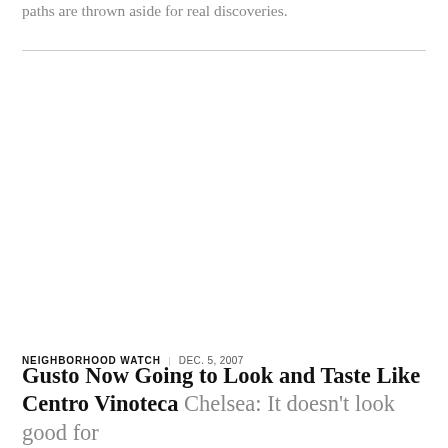paths are thrown aside for real discoveries.
NEIGHBORHOOD WATCH | DEC. 5, 2007
Gusto Now Going to Look and Taste Like Centro Vinoteca Chelsea: It doesn't look good for